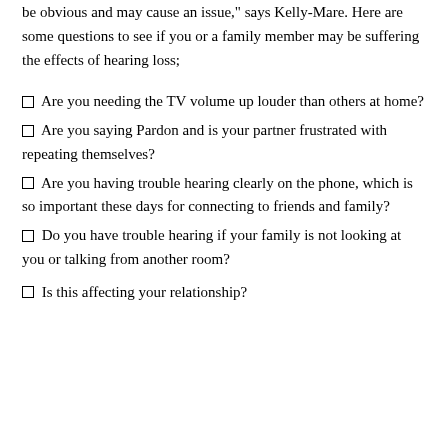be obvious and may cause an issue," says Kelly-Mare. Here are some questions to see if you or a family member may be suffering the effects of hearing loss;
Are you needing the TV volume up louder than others at home?
Are you saying Pardon and is your partner frustrated with repeating themselves?
Are you having trouble hearing clearly on the phone, which is so important these days for connecting to friends and family?
Do you have trouble hearing if your family is not looking at you or talking from another room?
Is this affecting your relationship?